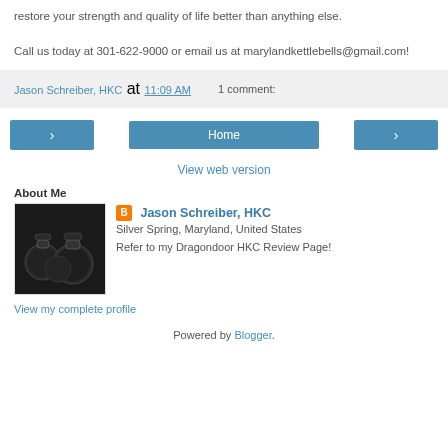restore your strength and quality of life better than anything else.
Call us today at 301-622-9000 or email us at marylandkettlebells@gmail.com!
Jason Schreiber, HKC at 11:09 AM   1 comment:
Home
View web version
About Me
[Figure (photo): Kettlebell weights image]
Jason Schreiber, HKC
Silver Spring, Maryland, United States
Refer to my Dragondoor HKC Review Page!
View my complete profile
Powered by Blogger.